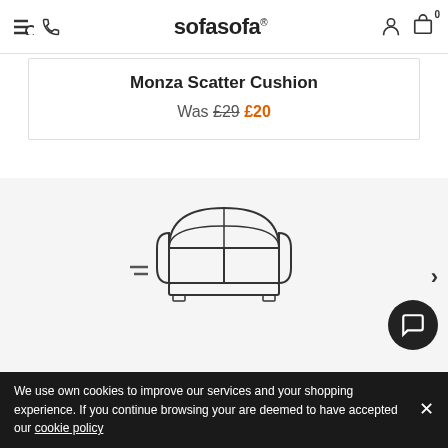sofasofa
Monza Scatter Cushion
Was £29 £20
[Figure (illustration): Line drawing icon of a two-seater sofa with rounded arms and two cushions]
Delivered Direct
We use own cookies to improve our services and your shopping experience. If you continue browsing your are deemed to have accepted our cookie policy